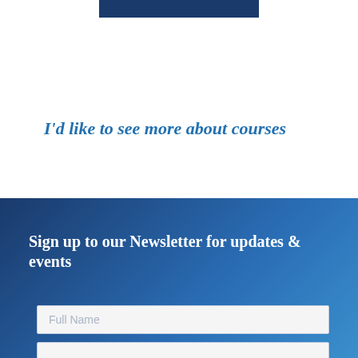[Figure (other): Dark navy blue horizontal bar at top center of page]
I'd like to see more about courses
Sign up to our Newsletter for updates & events
Full Name